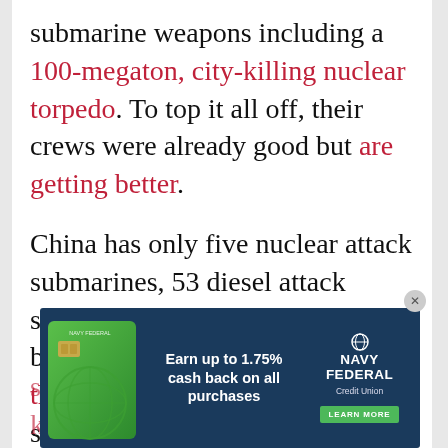submarine weapons including a 100-megaton, city-killing nuclear torpedo. To top it all off, their crews were already good but are getting better. China has only five nuclear attack submarines, 53 diesel attack submarines, and four nuclear ballistic missile submarines, but they're working on more. China's subs are easy to track, but the U.S. and its Pacific allies are deploying so... ke... Li...
[Figure (infographic): Navy Federal Credit Union advertisement banner: green credit card image on dark navy background. Text reads 'Earn up to 1.75% cash back on all purchases' with Navy Federal Credit Union logo and LEARN MORE button.]